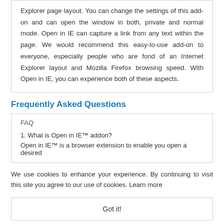Explorer page layout. You can change the settings of this add-on and can open the window in both, private and normal mode. Open in IE can capture a link from any text within the page. We would recommend this easy-to-use add-on to everyone, especially people who are fond of an Internet Explorer layout and Mozilla Firefox browsing speed. With Open in IE, you can experience both of these aspects.
Frequently Asked Questions
FAQ
1. What is Open in IE™ addon?
Open in IE™ is a browser extension to enable you open a desired
We use cookies to enhance your experience. By continuing to visit this site you agree to our use of cookies. Learn more
Got it!